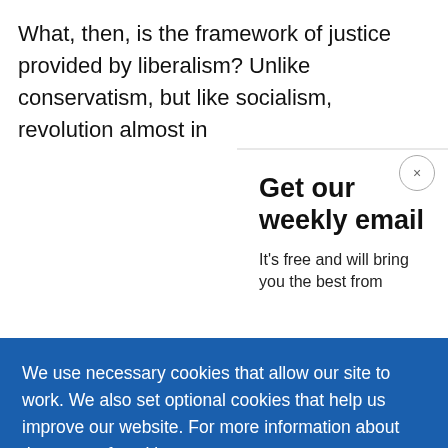What, then, is the framework of justice provided by liberalism? Unlike conservatism, but like socialism, revolutio almost in
Get our weekly email
It's free and will bring you the best from
We use necessary cookies that allow our site to work. We also set optional cookies that help us improve our website. For more information about the types of cookies we use. READ OUR COOKIES POLICY HERE
COOKIE SETTINGS
ALLOW ALL COOKIES
data.
individu